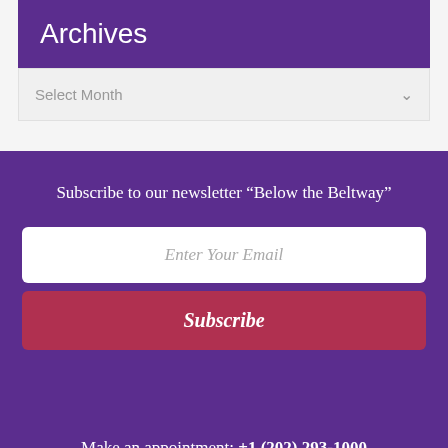Archives
Select Month
Subscribe to our newsletter “Below the Beltway”
Enter Your Email
Subscribe
Make an appointment: +1 (202) 293-1000